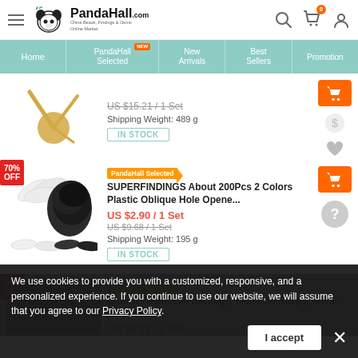[Figure (screenshot): PandaHall.com e-commerce website header with logo, hamburger menu, search, cart (badge 0), and user icons]
[Figure (screenshot): Navigation bar with Home, PandaHall Selected (NEW badge), New Arrivals, Best Sellers, Promotion tabs in teal]
[Figure (screenshot): First product listing: gold clock hands image, price US $15.21/1 Set (strikethrough), Shipping Weight: 489g, IN STOCK button, cart/money/heart action icons]
[Figure (screenshot): Second product listing: 70% OFF badge, white and black plastic oblique hole openers image. PandaHall Selected tag. SUPERFINDINGS About 200Pcs 2 Colors Plastic Oblique Hole Opene... US $2.90 / 1 Set, US $9.68 / 1 Set (strikethrough), Shipping Weight: 195g, IN STOCK, cart button and question mark icon]
[Figure (screenshot): Third product listing (partially visible): 70% OFF badge, Oxford Fabric Tail Package, with Iron Rasps, Multi-purpose... US $5.52 / 1 Set, US $18.39/1 Set (strikethrough). Dimmed behind cookie banner.]
We use cookies to provide you with a customized, responsive, and a personalized experience. If you continue to use our website, we will assume that you agree to our Privacy Policy.
I accept